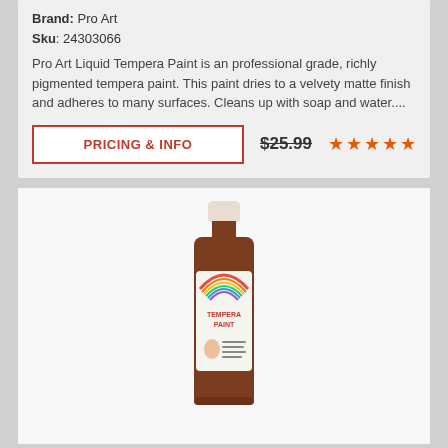Brand: Pro Art
Sku: 24303066
Pro Art Liquid Tempera Paint is an professional grade, richly pigmented tempera paint. This paint dries to a velvety matte finish and adheres to many surfaces. Cleans up with soap and water....
PRICING & INFO
$25.99
[Figure (photo): Brown bottle of Pro Art liquid tempera paint with a white cap and rainbow label showing 'Tempera Paint']